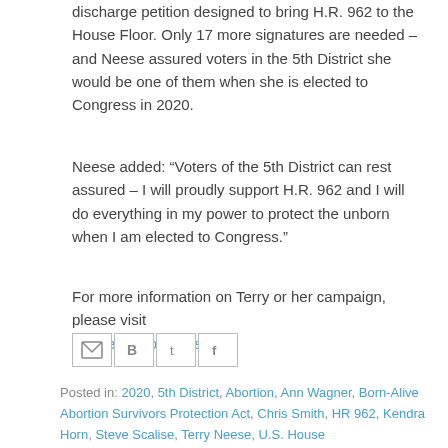discharge petition designed to bring H.R. 962 to the House Floor. Only 17 more signatures are needed – and Neese assured voters in the 5th District she would be one of them when she is elected to Congress in 2020.
Neese added: “Voters of the 5th District can rest assured – I will proudly support H.R. 962 and I will do everything in my power to protect the unborn when I am elected to Congress.”
For more information on Terry or her campaign, please visit NeeseForCongress.com.
[Figure (other): Social share icons: Email (M), Blogger (B), Twitter (t), Facebook (f)]
Posted in: 2020, 5th District, Abortion, Ann Wagner, Born-Alive Abortion Survivors Protection Act, Chris Smith, HR 962, Kendra Horn, Steve Scalise, Terry Neese, U.S. House
← Newer Post   Home   Older Post →
0 comments: